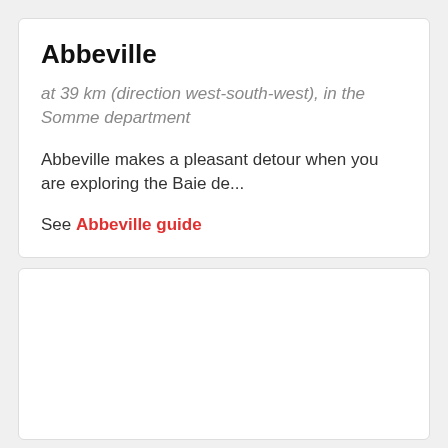Abbeville
at 39 km (direction west-south-west), in the Somme department
Abbeville makes a pleasant detour when you are exploring the Baie de...
See Abbeville guide
[Figure (other): Empty white card placeholder at bottom of page]